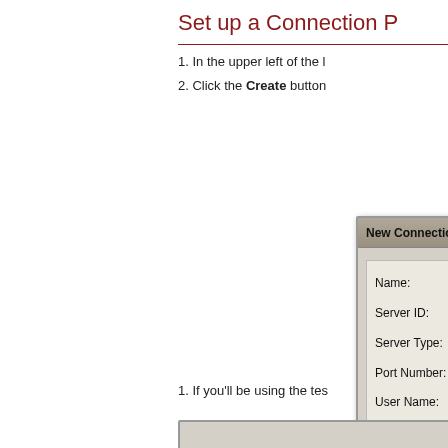Set up a Connection P
1. In the upper left of the l
2. Click the Create button
[Figure (screenshot): New Connection Profile dialog box with fields: Name (MiddleburyProd), Server ID (echo), Server Type (Production), Port Number (6000), User Name with radio options: Always prompt, Set to, Remember last su]
1. If you'll be using the tes